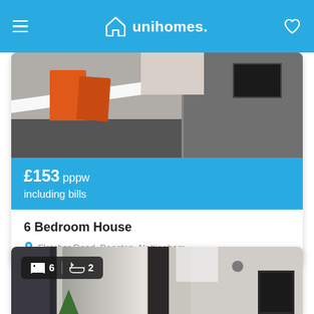unihomes.
[Figure (photo): Kitchen/dining area with white table top, orange chairs, dark tiled floor, grey cabinets]
£153 pppw
including bills
6 Bedroom House
Fletcher Road, Beeston, Nottingham
[Figure (photo): Modern hallway/corridor interior with dark vertical panels, plant, wall art. Badge shows 6 bedrooms, 2 bathrooms.]